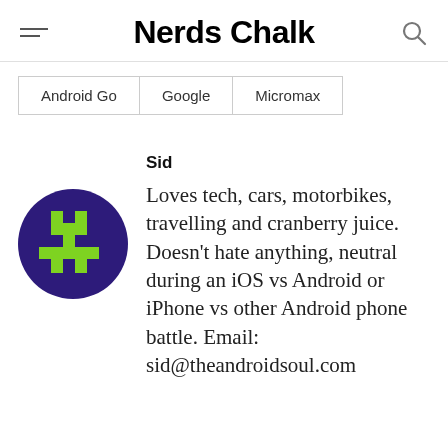Nerds Chalk
| Android Go | Google | Micromax |
Sid
[Figure (illustration): Circular avatar with dark purple background and a green pixel-art figure/icon in the center]
Loves tech, cars, motorbikes, travelling and cranberry juice. Doesn't hate anything, neutral during an iOS vs Android or iPhone vs other Android phone battle. Email: sid@theandroidsoul.com